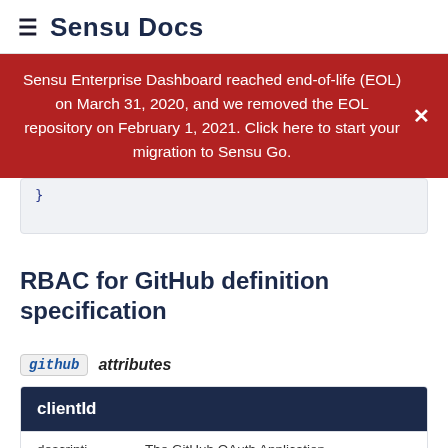≡ Sensu Docs
Sensu Enterprise Dashboard reached end-of-life (EOL) on March 31, 2020, and we removed the EOL repository on February 1, 2021. Click here to start your migration to Sensu Go.
}
RBAC for GitHub definition specification
github attributes
| clientId |
| --- |
| descripti | The GitHub OAuth Application |